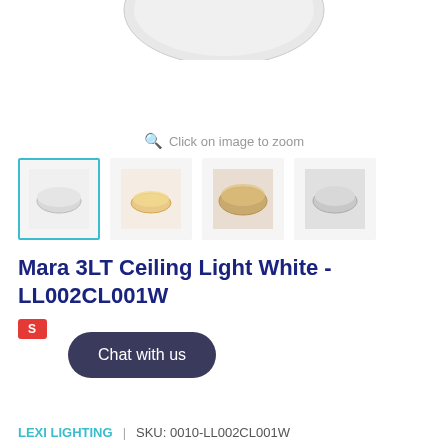[Figure (photo): Top portion of a white ceiling light fixture visible at the very top of the page, cropped]
Click on image to zoom
[Figure (photo): Four product thumbnail images: first selected with teal border showing white ceiling light (top view), second showing warm lit version, third showing lit ceiling light angled, fourth showing side/grey view]
Mara 3LT Ceiling Light White - LL002CL001W
[Figure (other): Chat with us button overlay]
LEXI LIGHTING   |   SKU: 0010-LL002CL001W